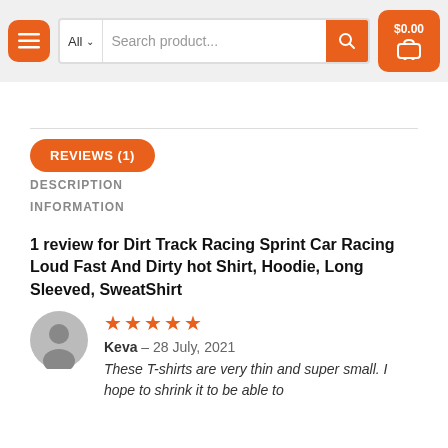All  Search product...  $0.00
REVIEWS (1)
DESCRIPTION
INFORMATION
1 review for Dirt Track Racing Sprint Car Racing Loud Fast And Dirty hot Shirt, Hoodie, Long Sleeved, SweatShirt
★★★★★
Keva – 28 July, 2021
These T-shirts are very thin and super small. I hope to shrink it to be able to